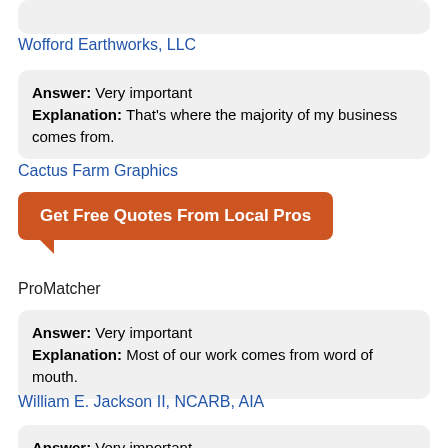(partial bubble top - clipped)
Wofford Earthworks, LLC
Answer: Very important Explanation: That's where the majority of my business comes from.
Cactus Farm Graphics
[Figure (other): Orange call-to-action button with text 'Get Free Quotes From Local Pros' with speech bubble tail]
ProMatcher
Answer: Very important Explanation: Most of our work comes from word of mouth.
William E. Jackson II, NCARB, AIA
Answer: Very important